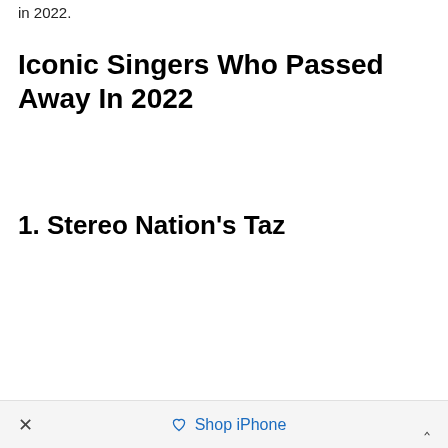in 2022.
Iconic Singers Who Passed Away In 2022
1. Stereo Nation's Taz
× ♡ Shop iPhone ^